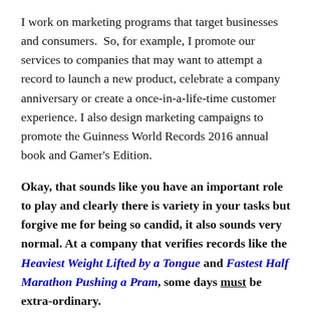I work on marketing programs that target businesses and consumers.  So, for example, I promote our services to companies that may want to attempt a record to launch a new product, celebrate a company anniversary or create a once-in-a-life-time customer experience. I also design marketing campaigns to promote the Guinness World Records 2016 annual book and Gamer's Edition.
Okay, that sounds like you have an important role to play and clearly there is variety in your tasks but forgive me for being so candid, it also sounds very normal. At a company that verifies records like the Heaviest Weight Lifted by a Tongue and Fastest Half Marathon Pushing a Pram, some days must be extra-ordinary.
(She chuckled and chided me gently about my rush to get to the good stuff). Well, you didn't let me finish...